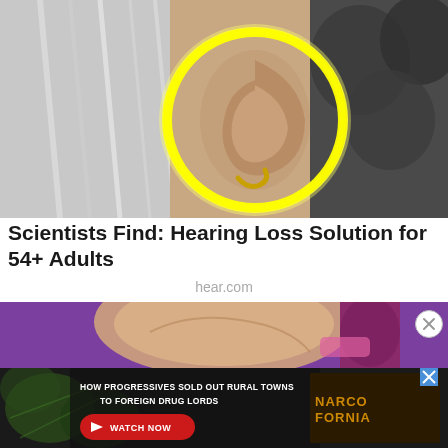[Figure (photo): Black and white photo of a woman's ear with long hair, with a yellow glowing circle highlighting the ear area. A small gold hoop earring is visible.]
Scientists Find: Hearing Loss Solution for 54+ Adults
hear.com
[Figure (photo): Colorful illustrated image with purple and tan/beige tones, appears to be a food or health-related graphic.]
[Figure (photo): Banner advertisement: HOW PROGRESSIVES SOLD OUT RURAL TOWNS TO FOREIGN DRUG LORDS — NARCOFORNIA. Watch Now button. Background shows marijuana leaves.]